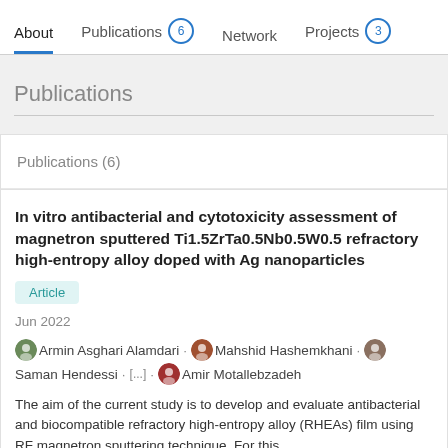About   Publications 6   Network   Projects 3
Publications
Publications (6)
In vitro antibacterial and cytotoxicity assessment of magnetron sputtered Ti1.5ZrTa0.5Nb0.5W0.5 refractory high-entropy alloy doped with Ag nanoparticles
Article
Jun 2022
Armin Asghari Alamdari · Mahshid Hashemkhani · Saman Hendessi · [...] · Amir Motallebzadeh
The aim of the current study is to develop and evaluate antibacterial and biocompatible refractory high-entropy alloy (RHEAs) film using RF magnetron sputtering technique. For this